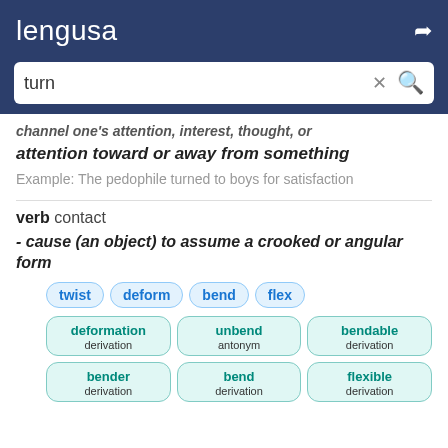lengusa
turn
channel one's attention, interest, thought, or attention toward or away from something
Example: The pedophile turned to boys for satisfaction
verb contact
- cause (an object) to assume a crooked or angular form
twist
deform
bend
flex
deformation derivation
unbend antonym
bendable derivation
bender derivation
bend derivation
flexible derivation